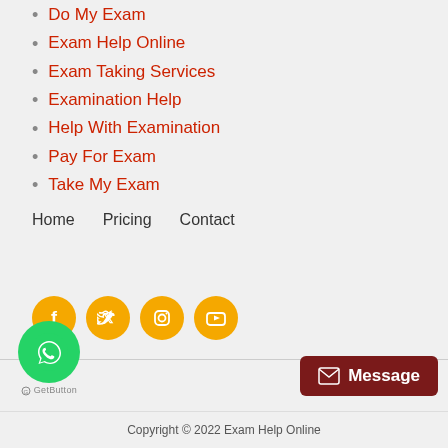Do My Exam
Exam Help Online
Exam Taking Services
Examination Help
Help With Examination
Pay For Exam
Take My Exam
Home    Pricing    Contact
[Figure (infographic): Social media icons: Facebook, Twitter, Instagram, YouTube — orange circles with white icons]
[Figure (logo): WhatsApp green circle button with WhatsApp logo, labeled GetButton below]
[Figure (other): Dark red Message button with envelope icon]
Copyright © 2022 Exam Help Online